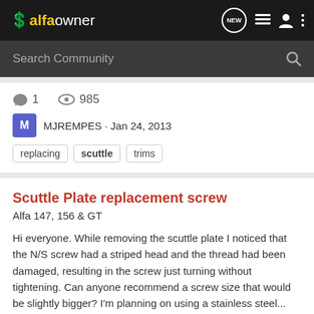alfaowner
Search Community
1 replies · 985 views · MJREMPES · Jan 24, 2013
replacing
scuttle
trims
Scuttle Plate replacement screw
Alfa 147, 156 & GT
Hi everyone. While removing the scuttle plate I noticed that the N/S screw had a striped head and the thread had been damaged, resulting in the screw just turning without tightening. Can anyone recommend a screw size that would be slightly bigger? I'm planning on using a stainless steel...
2 replies · 1K views